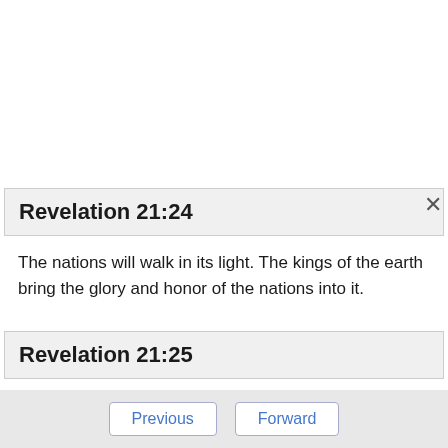Revelation 21:24
The nations will walk in its light. The kings of the earth bring the glory and honor of the nations into it.
Revelation 21:25
Its gates will in no way be shut by day (for there will be no night there),
Revelation 21:26
Previous   Forward